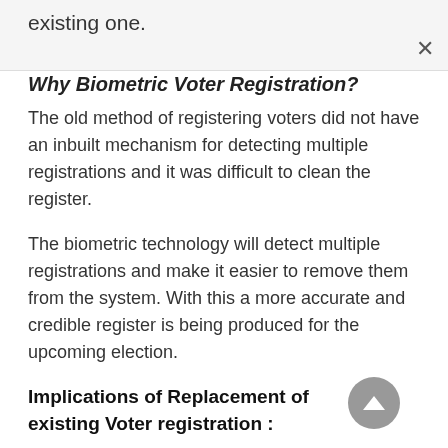existing one.
Why Biometric Voter Registration?
The old method of registering voters did not have an inbuilt mechanism for detecting multiple registrations and it was difficult to clean the register.
The biometric technology will detect multiple registrations and make it easier to remove them from the system. With this a more accurate and credible register is being produced for the upcoming election.
Implications of Replacement of existing Voter registration :
The...